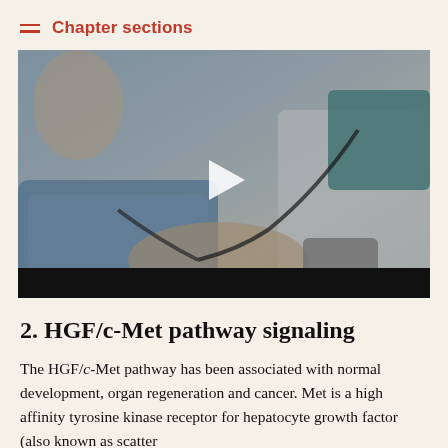Chapter sections
[Figure (photo): A doctor using a stethoscope to check a patient's blood pressure, with a play button overlay indicating this is a video thumbnail. A blood pressure cuff is visible on the patient's arm.]
2. HGF/c-Met pathway signaling
The HGF/c-Met pathway has been associated with normal development, organ regeneration and cancer. Met is a high affinity tyrosine kinase receptor for hepatocyte growth factor (also known as scatter